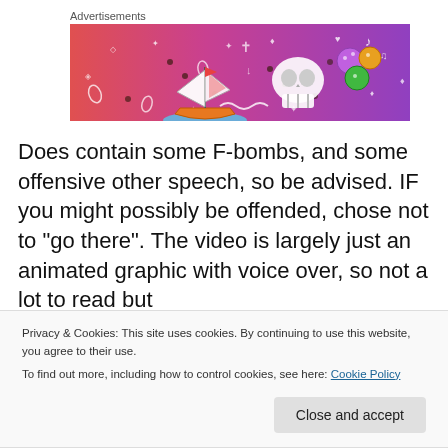[Figure (illustration): Colorful advertisement banner with gradient background (pink/red to purple) featuring illustrated icons: a sailboat, skull, dice/gem shapes, music notes, hearts, diamonds, and sparkle symbols on a decorative doodle-style background. Label 'Advertisements' appears above.]
Does contain some F-bombs, and some offensive other speech, so be advised. IF you might possibly be offended, chose not to “go there”. The video is largely just an animated graphic with voice over, so not a lot to read but
Privacy & Cookies: This site uses cookies. By continuing to use this website, you agree to their use.
To find out more, including how to control cookies, see here: Cookie Policy
Close and accept